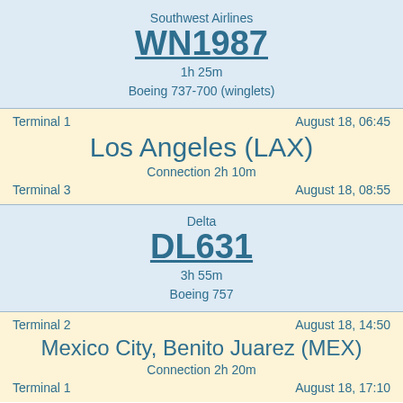Southwest Airlines
WN1987
1h 25m
Boeing 737-700 (winglets)
Terminal 1    August 18, 06:45
Los Angeles (LAX)
Connection 2h 10m
Terminal 3    August 18, 08:55
Delta
DL631
3h 55m
Boeing 757
Terminal 2    August 18, 14:50
Mexico City, Benito Juarez (MEX)
Connection 2h 20m
Terminal 1    August 18, 17:10